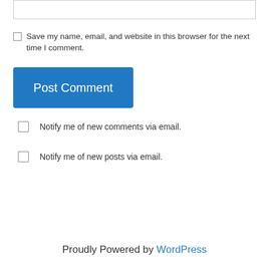Save my name, email, and website in this browser for the next time I comment.
Post Comment
Notify me of new comments via email.
Notify me of new posts via email.
Proudly Powered by WordPress